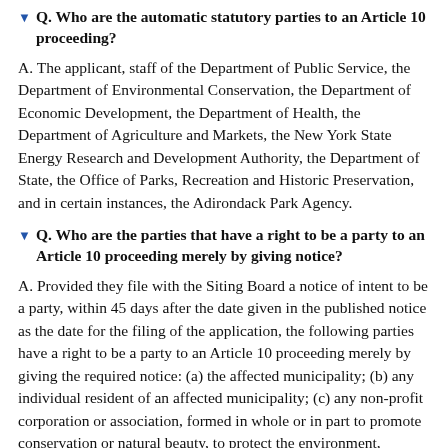Q. Who are the automatic statutory parties to an Article 10 proceeding?
A. The applicant, staff of the Department of Public Service, the Department of Environmental Conservation, the Department of Economic Development, the Department of Health, the Department of Agriculture and Markets, the New York State Energy Research and Development Authority, the Department of State, the Office of Parks, Recreation and Historic Preservation, and in certain instances, the Adirondack Park Agency.
Q. Who are the parties that have a right to be a party to an Article 10 proceeding merely by giving notice?
A. Provided they file with the Siting Board a notice of intent to be a party, within 45 days after the date given in the published notice as the date for the filing of the application, the following parties have a right to be a party to an Article 10 proceeding merely by giving the required notice: (a) the affected municipality; (b) any individual resident of an affected municipality; (c) any non-profit corporation or association, formed in whole or in part to promote conservation or natural beauty, to protect the environment, personal health or other biological values, to preserve historical sites, to promote consumer interests, to represent commercial and